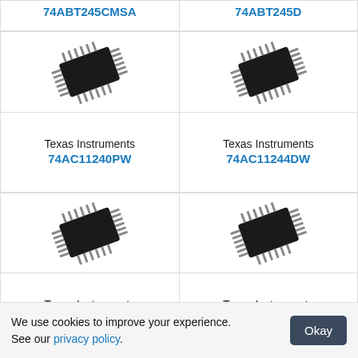74ABT245CMSA
74ABT245D
[Figure (photo): IC chip photo for 74AC11240PW]
Texas Instruments 74AC11240PW
[Figure (photo): IC chip photo for 74AC11244DW]
Texas Instruments 74AC11244DW
[Figure (photo): IC chip photo for 74AC11244PW]
Texas Instruments 74AC11244PW
[Figure (photo): IC chip photo for 74AC11245DW]
Texas Instruments 74AC11245DW
We use cookies to improve your experience. See our privacy policy.